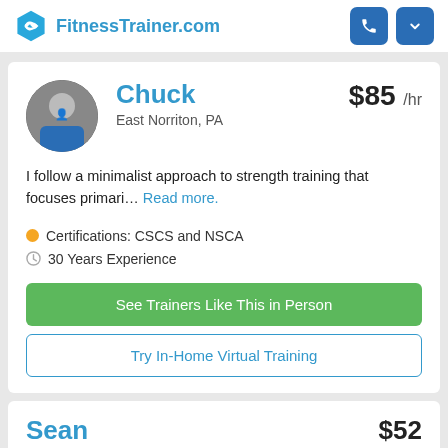FitnessTrainer.com
Chuck
East Norriton, PA
$85 /hr
I follow a minimalist approach to strength training that focuses primari... Read more.
Certifications: CSCS and NSCA
30 Years Experience
See Trainers Like This in Person
Try In-Home Virtual Training